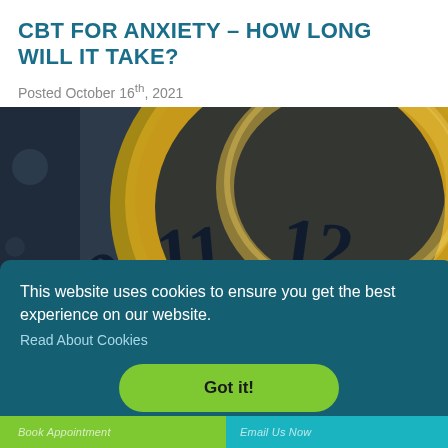CBT FOR ANXIETY – HOW LONG WILL IT TAKE?
Posted October 16th, 2021
[Figure (photo): Close-up photograph of a gold clock face showing numbers 10, 11, 12, with dark background and bokeh lighting effect.]
This website uses cookies to ensure you get the best experience on our website.
Read About Cookies
Got it!